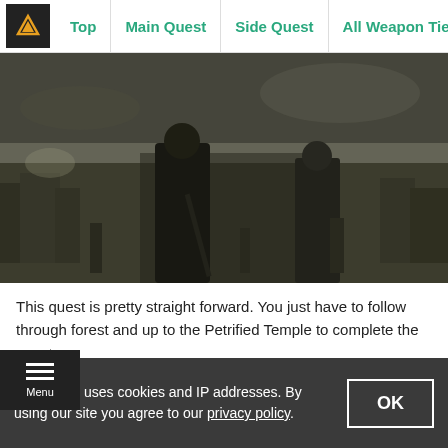Top | Main Quest | Side Quest | All Weapon Tier | All A
[Figure (photo): Game screenshot showing armored warrior characters walking through a field with vegetation, in a dark atmospheric style.]
This quest is pretty straight forward. You just have to follow through forest and up to the Petrified Temple to complete the quest.
A Slithery Plea - Walkthrough
A Slithery Plea Quest Reward
GameWith uses cookies and IP addresses. By using our site you agree to our privacy policy.